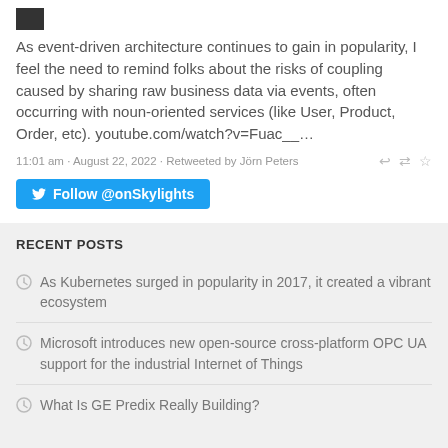[Figure (photo): Small avatar/profile image thumbnail in top left]
As event-driven architecture continues to gain in popularity, I feel the need to remind folks about the risks of coupling caused by sharing raw business data via events, often occurring with noun-oriented services (like User, Product, Order, etc). youtube.com/watch?v=Fuac__…
11:01 am · August 22, 2022 · Retweeted by Jörn Peters
Follow @onSkylights
RECENT POSTS
As Kubernetes surged in popularity in 2017, it created a vibrant ecosystem
Microsoft introduces new open-source cross-platform OPC UA support for the industrial Internet of Things
What Is GE Predix Really Building?